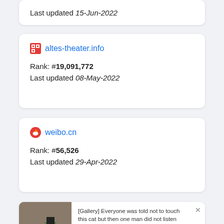Last updated 15-Jun-2022
altes-theater.info
Rank: #19,091,772
Last updated 08-May-2022
weibo.cn
Rank: #56,526
Last updated 29-Apr-2022
[Figure (screenshot): Advertisement: [Gallery] Everyone was told not to touch this cat but then one man did not listen. Source: soohealthy. PurpleAds branding.]
Last updated 28-Apr-2022